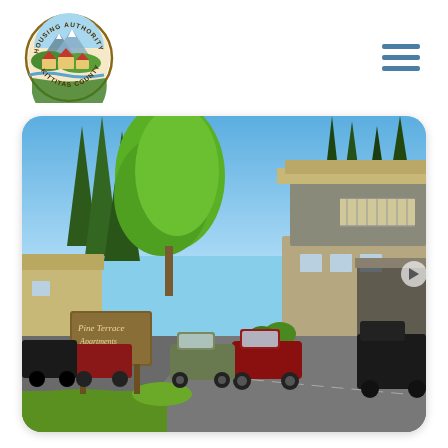[Figure (logo): Kittitas County Housing Authority circular logo with mountains, houses, and river imagery]
[Figure (photo): Outdoor photograph of Pine Terrace Apartments showing a wooded apartment complex with trees, a sign, parked cars including red trucks and an SUV, and a two-story building under a clear blue sky]